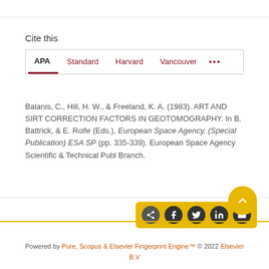Cite this
APA | Standard | Harvard | Vancouver | ...
Balanis, C., Hill, H. W., & Freeland, K. A. (1983). ART AND SIRT CORRECTION FACTORS IN GEOTOMOGRAPHY. In B. Battrick, & E. Rolfe (Eds.), European Space Agency, (Special Publication) ESA SP (pp. 335-339). European Space Agency Scientific & Technical Publ Branch.
[Figure (other): Share icons bar with social sharing buttons (share, Facebook, Twitter, LinkedIn, email) on a yellow/gold background]
Powered by Pure, Scopus & Elsevier Fingerprint Engine™ © 2022 Elsevier B.V